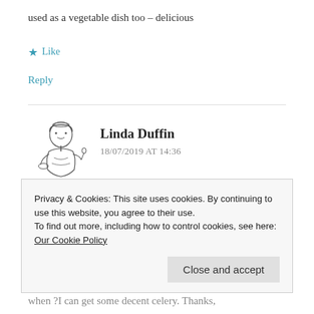used as a vegetable dish too – delicious
★ Like
Reply
[Figure (illustration): Small black and white illustration of a woman in vintage style holding a spoon, used as a blog commenter avatar]
Linda Duffin
18/07/2019 AT 14:36
I make a salad similar to Laura's nonna's, it makes
Privacy & Cookies: This site uses cookies. By continuing to use this website, you agree to their use.
To find out more, including how to control cookies, see here: Our Cookie Policy
Close and accept
when ?I can get some decent celery. Thanks,